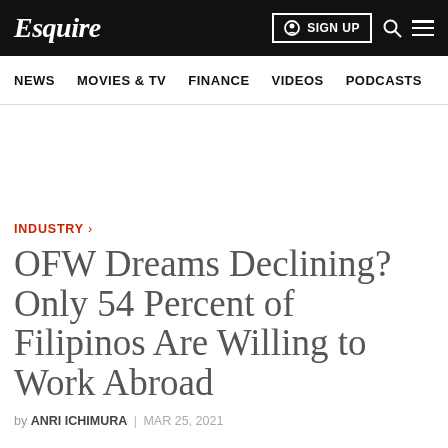Esquire
NEWS | MOVIES & TV | FINANCE | VIDEOS | PODCASTS
INDUSTRY ›
OFW Dreams Declining? Only 54 Percent of Filipinos Are Willing to Work Abroad
by ANRI ICHIMURA | MAR 25, 2021